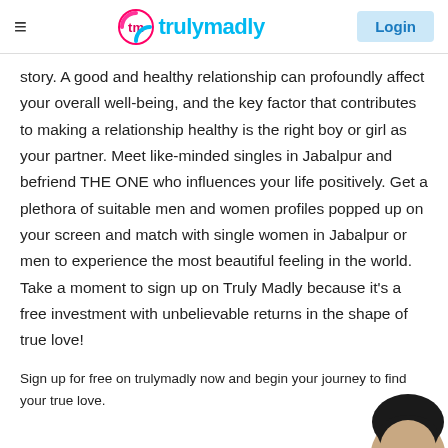trulymadly | Login
story. A good and healthy relationship can profoundly affect your overall well-being, and the key factor that contributes to making a relationship healthy is the right boy or girl as your partner. Meet like-minded singles in Jabalpur and befriend THE ONE who influences your life positively. Get a plethora of suitable men and women profiles popped up on your screen and match with single women in Jabalpur or men to experience the most beautiful feeling in the world. Take a moment to sign up on Truly Madly because it's a free investment with unbelievable returns in the shape of true love!
Sign up for free on trulymadly now and begin your journey to find your true love.
[Figure (photo): Partial photo of a person's head/hair visible at bottom right corner of the page]